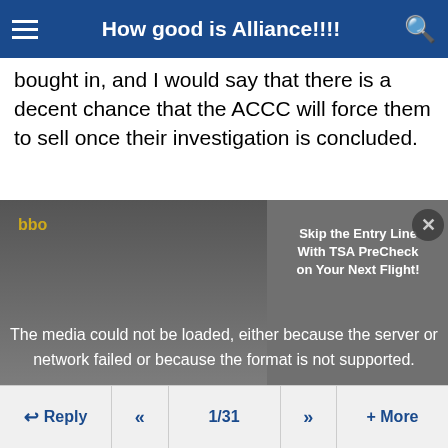How good is Alliance!!!!
bought in, and I would say that there is a decent chance that the ACCC will force them to sell once their investigation is concluded.
[Figure (screenshot): Video player with error message overlay: 'The media could not be loaded, either because the server or network failed or because the format is not supported.' A TSA PreCheck advertisement overlay reads 'Skip the Entry Line With TSA PreCheck on Your Next Flight!' with a close button. A large X is shown at the bottom of the player area.]
Reply  <<  1/31  >>  + More